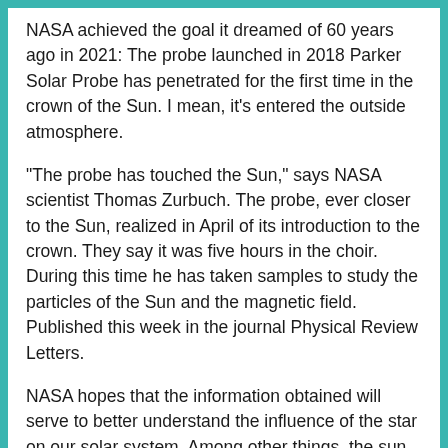NASA achieved the goal it dreamed of 60 years ago in 2021: The probe launched in 2018 Parker Solar Probe has penetrated for the first time in the crown of the Sun. I mean, it's entered the outside atmosphere.
“The probe has touched the Sun,” says NASA scientist Thomas Zurbuch. The probe, ever closer to the Sun, realized in April of its introduction to the crown. They say it was five hours in the choir. During this time he has taken samples to study the particles of the Sun and the magnetic field. Published this week in the journal Physical Review Letters.
NASA hopes that the information obtained will serve to better understand the influence of the star on our solar system. Among other things, the sun coming out of the star and the energetic particles projected in the Eguzki system.
Incredible temperatures.